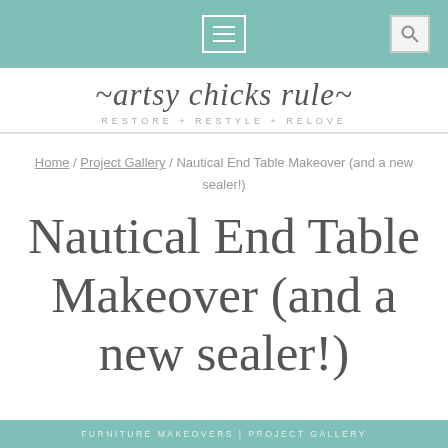artsy chicks rule — RESTORE + RESTYLE + RELOVE
Home / Project Gallery / Nautical End Table Makeover (and a new sealer!)
Nautical End Table Makeover (and a new sealer!)
FURNITURE MAKEOVERS | PROJECT GALLERY